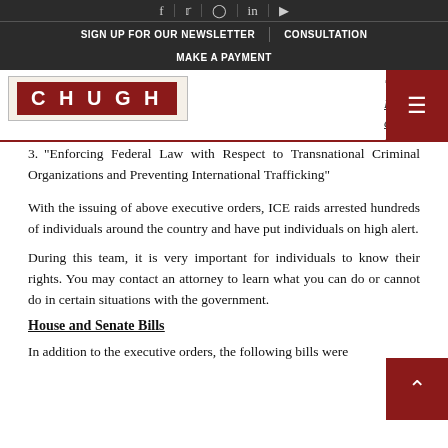SIGN UP FOR OUR NEWSLETTER | CONSULTATION | MAKE A PAYMENT
[Figure (logo): CHUGH law firm logo - red background with white bold lettering]
"Crime Reduction and Public Safety"
"Violence Against Federal, State, Tribal, and Law Enforcement Officers"
"Enforcing Federal Law with Respect to Transnational Criminal Organizations and Preventing International Trafficking"
With the issuing of above executive orders, ICE raids arrested hundreds of individuals around the country and have put individuals on high alert.
During this team, it is very important for individuals to know their rights. You may contact an attorney to learn what you can do or cannot do in certain situations with the government.
House and Senate Bills
In addition to the executive orders, the following bills were